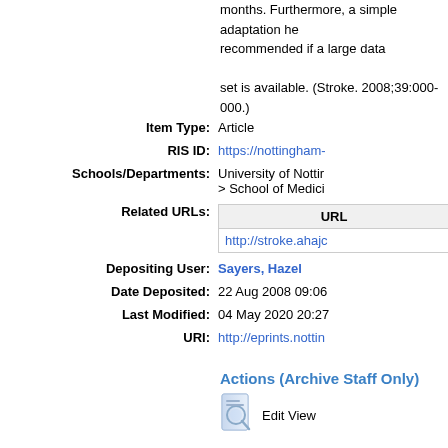months. Furthermore, a simple adaptation he recommended if a large data set is available. (Stroke. 2008;39:000-000.)
| Item Type: | Article |
| --- | --- |
RIS ID: https://nottingham-
Schools/Departments: University of Nottingham > School of Medicine
| URL |
| --- |
| http://stroke.ahajc |
Depositing User: Sayers, Hazel
Date Deposited: 22 Aug 2008 09:06
Last Modified: 04 May 2020 20:27
URI: http://eprints.nottin
Actions (Archive Staff Only)
Edit View